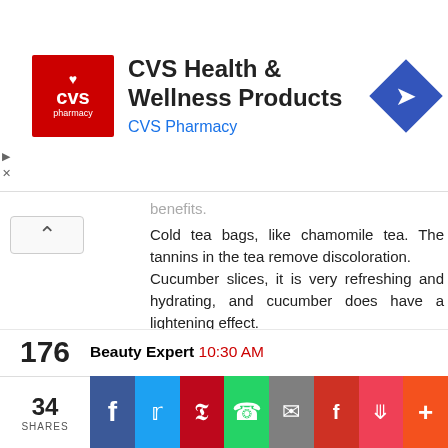[Figure (screenshot): CVS Health & Wellness Products advertisement banner with CVS Pharmacy red logo on the left, title text 'CVS Health & Wellness Products' and subtitle 'CVS Pharmacy' in blue, and a blue diamond navigation icon on the right]
benefits.
Cold tea bags, like chamomile tea. The tannins in the tea remove discoloration.
Cucumber slices, it is very refreshing and hydrating, and cucumber does have a lightening effect.
Slices of avocado, which also is rich in vitamin E.All of these things can just be put under your eyes, and be removed after at least 15 minutes. I haven't tried all of them myself so I can't say if they will work, but it is always worth a try; at the very least you will get some relaxation.
Reply
176
Beauty Expert  10:30 AM
34
SHARES